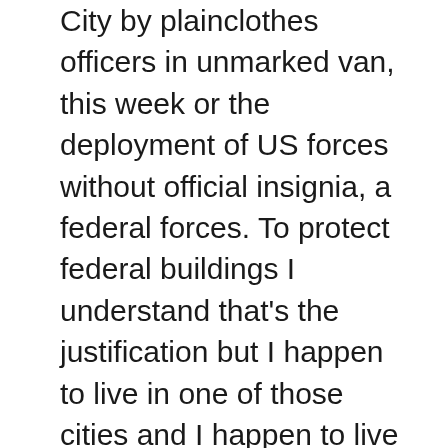City by plainclothes officers in unmarked van, this week or the deployment of US forces without official insignia, a federal forces. To protect federal buildings I understand that's the justification but I happen to live in one of those cities and I happen to live in a region where we've had that deployment in Portland just down the road, an hour and a half away. So I understand the people in that environment, and that's the worst thing you could to with the type of Americans we have here on the Pacific northwest to say. We're going to do this to you and you're gonNA, like it and you better go home because that's not going to happen. It's antagonistic. The you saw was the natural response and that's why you know the leadership the local leadership